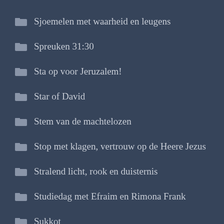Sjoemelen met waarheid en leugens
Spreuken 31:30
Sta op voor Jeruzalem!
Star of David
Stem van de machtelozen
Stop met klagen, vertrouw op de Heere Jezus
Stralend licht, rook en duisternis
Studiedag met Efraim en Rimona Frank
Sukkot
Summer Camp 2016
Sweden
Sweden as a warning to other nations
Sylvana Simons
Syrië